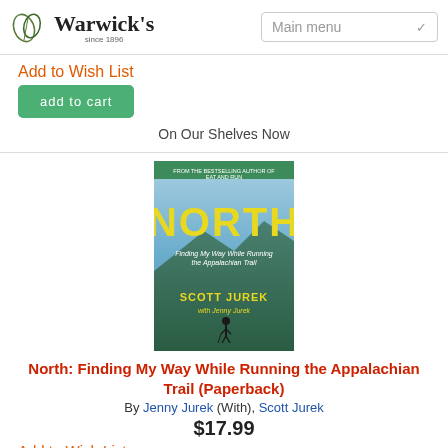Warwick's since 1896 | Main menu
Add to Wish List
add to cart
On Our Shelves Now
[Figure (photo): Book cover of North: Finding My Way While Running the Appalachian Trail by Scott Jurek with Jenny Jurek. Cover shows hiker on mountain with blue sky and yellow NORTH title text.]
North: Finding My Way While Running the Appalachian Trail (Paperback)
By Jenny Jurek (With), Scott Jurek
$17.99
Add to Wish List
add to cart
On Our Shelves Now